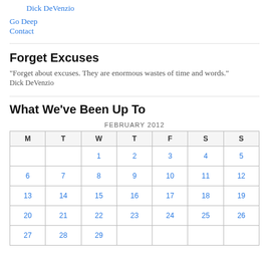Dick DeVenzio
Go Deep
Contact
Forget Excuses
"Forget about excuses. They are enormous wastes of time and words." Dick DeVenzio
What We’ve Been Up To
| M | T | W | T | F | S | S |
| --- | --- | --- | --- | --- | --- | --- |
|  |  | 1 | 2 | 3 | 4 | 5 |
| 6 | 7 | 8 | 9 | 10 | 11 | 12 |
| 13 | 14 | 15 | 16 | 17 | 18 | 19 |
| 20 | 21 | 22 | 23 | 24 | 25 | 26 |
| 27 | 28 | 29 |  |  |  |  |